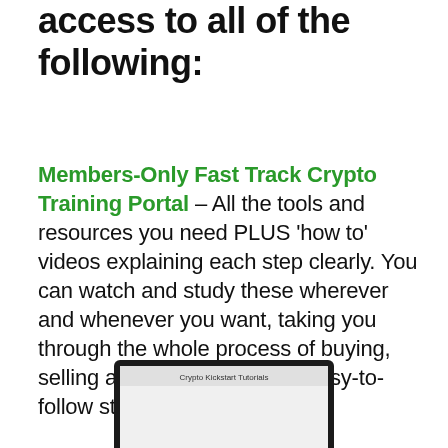access to all of the following:
Members-Only Fast Track Crypto Training Portal – All the tools and resources you need PLUS 'how to' videos explaining each step clearly. You can watch and study these wherever and whenever you want, taking you through the whole process of buying, selling and trading crypto in easy-to-follow stages.
[Figure (illustration): Laptop computer showing a screen with 'Crypto Kickstart Tutorials' text]